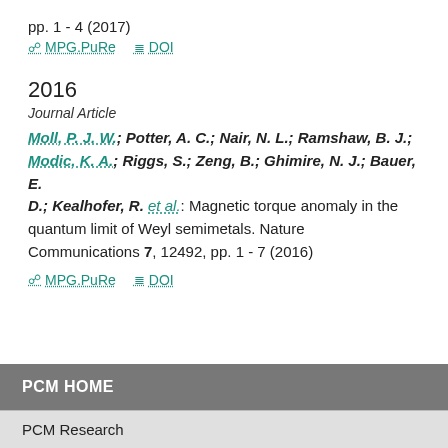pp. 1 - 4 (2017)
MPG.PuRe   DOI
2016
Journal Article
Moll, P. J. W.; Potter, A. C.; Nair, N. L.; Ramshaw, B. J.; Modic, K. A.; Riggs, S.; Zeng, B.; Ghimire, N. J.; Bauer, E. D.; Kealhofer, R. et al.: Magnetic torque anomaly in the quantum limit of Weyl semimetals. Nature Communications 7, 12492, pp. 1 - 7 (2016)
MPG.PuRe   DOI
PCM HOME
PCM Research